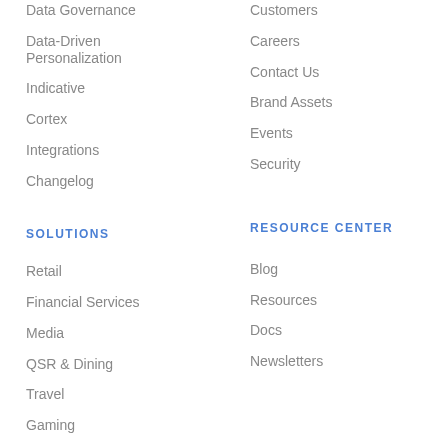Data Governance
Data-Driven Personalization
Indicative
Cortex
Integrations
Changelog
SOLUTIONS
Retail
Financial Services
Media
QSR & Dining
Travel
Gaming
Customers
Careers
Contact Us
Brand Assets
Events
Security
RESOURCE CENTER
Blog
Resources
Docs
Newsletters